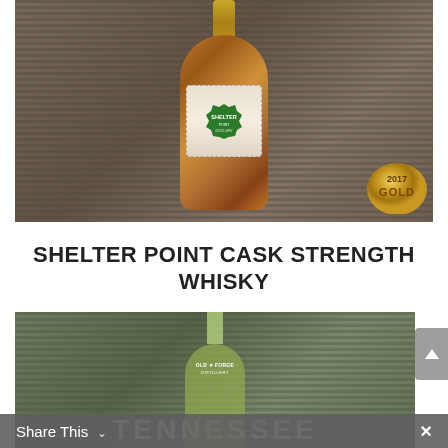[Figure (photo): A bottle of Shelter Point Cask Strength Whisky against a wooden plank background, showing the green Shelter Point Distillery badge label. A gold 2017 medal is visible in the lower right corner of the image.]
SHELTER POINT CASK STRENGTH WHISKY
[Figure (photo): A bottle of Old Forge Distillery Tennessee product photographed against a wooden plank background. The bottle has a green tint and the word TENNESSEE is visible in large letters at the bottom of the image. A UI scroll-up arrow button is visible on the right edge.]
Share This